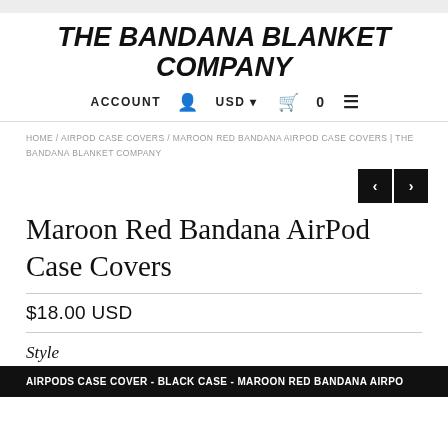THE BANDANA BLANKET COMPANY
ACCOUNT  USD  0  ≡
HOME / AIRPOD CASE COVERS / MAROON RED BANDANA AIRPOD CASE COVERS | THE BANDANA BLANKET COMPANY
[Figure (other): Navigation previous and next arrow buttons]
Maroon Red Bandana AirPod Case Covers
$18.00 USD
Style
AIRPODS CASE COVER - BLACK CASE - MAROON RED BANDANA AIRPO